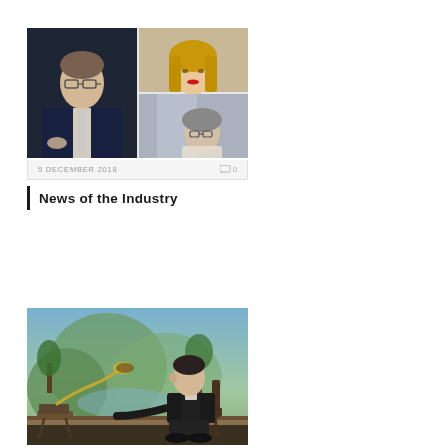[Figure (photo): Collage of four professional portrait photos arranged in a 2x2 grid: top-left shows a young man in a dark suit with glasses, top-right top shows a woman with blonde hair, top-right bottom shows an older man in black and white, bottom-right shows a woman with glasses]
5 DECEMBER 2018    0
News of the Industry
[Figure (photo): A young man in a leather jacket sits in a chair listening to an antique gramophone horn, with a painted pastoral mural in the background and a small side table with a turntable to his left]